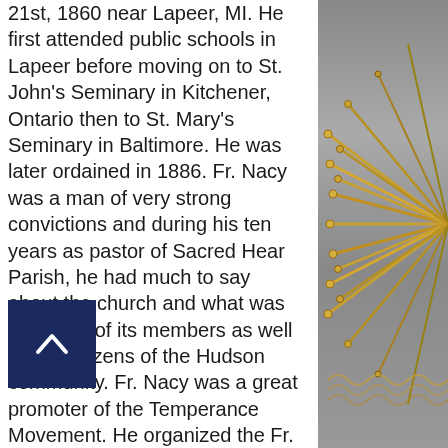21st, 1860 near Lapeer, MI. He first attended public schools in Lapeer before moving on to St. John's Seminary in Kitchener, Ontario then to St. Mary's Seminary in Baltimore. He was later ordained in 1886. Fr. Nacy was a man of very strong convictions and during his ten years as pastor of Sacred Hear Parish, he had much to say about the church and what was expected of its members as well as the citizens of the Hudson community. Fr. Nacy was a great promoter of the Temperance Movement. He organized the Fr. Matthews Total Abstinence Society for not only Sacred Heart Church, but for the Hudson community at large.
Because of declining enrollment at Sacred Heart School, Fr. Nacy had to disband it in 1890.
Fr. Nacy was also a very talented singer a[nd wen]t to great lengths to make singing a [s]pecial part of a church service. He also published a little booklet of perhaps
[Figure (photo): Close-up photo of golden/bronze decorative metallic spines or rays with small ornate details, likely part of a religious or decorative artifact, photographed on a grey background.]